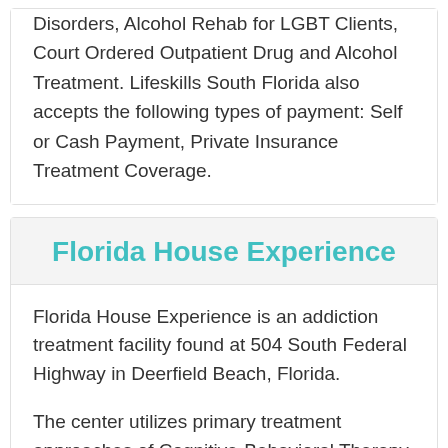Disorders, Alcohol Rehab for LGBT Clients, Court Ordered Outpatient Drug and Alcohol Treatment. Lifeskills South Florida also accepts the following types of payment: Self or Cash Payment, Private Insurance Treatment Coverage.
Florida House Experience
Florida House Experience is an addiction treatment facility found at 504 South Federal Highway in Deerfield Beach, Florida.
The center utilizes primary treatment approaches of Cognitive-Behavioral Therapy